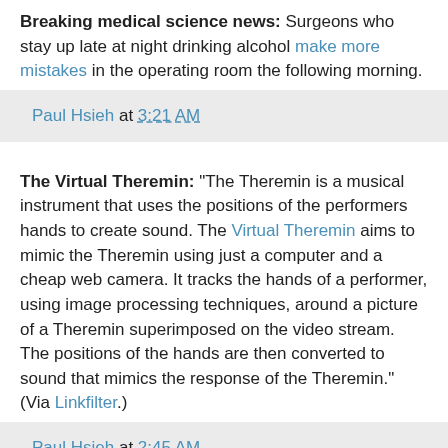Breaking medical science news: Surgeons who stay up late at night drinking alcohol make more mistakes in the operating room the following morning.
Paul Hsieh at 3:21 AM
The Virtual Theremin: "The Theremin is a musical instrument that uses the positions of the performers hands to create sound. The Virtual Theremin aims to mimic the Theremin using just a computer and a cheap web camera. It tracks the hands of a performer, using image processing techniques, around a picture of a Theremin superimposed on the video stream. The positions of the hands are then converted to sound that mimics the response of the Theremin." (Via Linkfilter.)
Paul Hsieh at 2:45 AM